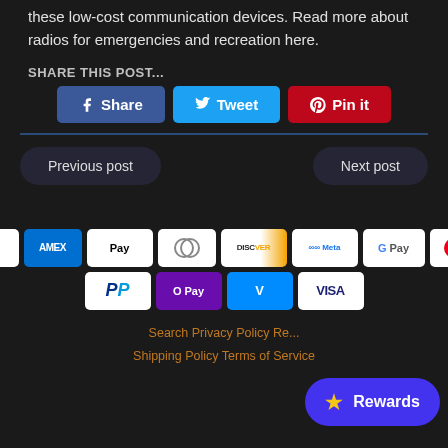these low-cost communication devices. Read more about radios for emergencies and recreation here.
SHARE THIS POST...
[Figure (infographic): Social share buttons: Facebook Share, Tweet, Pin it]
[Figure (infographic): Navigation buttons: Previous post, Next post]
[Figure (infographic): Payment method icons: Amazon, Amex, Apple Pay, Diners Club, Discover, Meta Pay, Google Pay, Mastercard, PayPal, O Pay, Venmo, Visa]
Search   Privacy Policy   Re...   Shipping Policy   Terms of Service
[Figure (infographic): Rewards button with star icon]